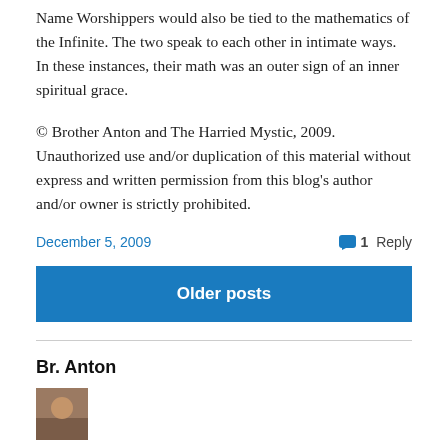Name Worshippers would also be tied to the mathematics of the Infinite. The two speak to each other in intimate ways. In these instances, their math was an outer sign of an inner spiritual grace.
© Brother Anton and The Harried Mystic, 2009. Unauthorized use and/or duplication of this material without express and written permission from this blog's author and/or owner is strictly prohibited.
December 5, 2009
1 Reply
Older posts
Br. Anton